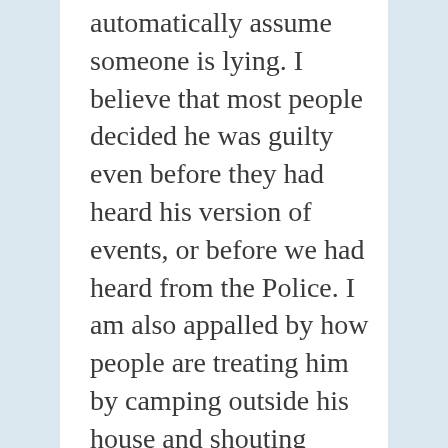automatically assume someone is lying. I believe that most people decided he was guilty even before they had heard his version of events, or before we had heard from the Police. I am also appalled by how people are treating him by camping outside his house and shouting abuse. This sustained attack on Mr Cummings and his family obviously informed the decision he made about travelling to Durham and it also informs my